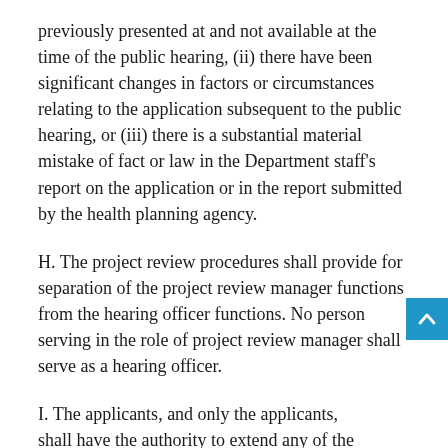previously presented at and not available at the time of the public hearing, (ii) there have been significant changes in factors or circumstances relating to the application subsequent to the public hearing, or (iii) there is a substantial material mistake of fact or law in the Department staff's report on the application or in the report submitted by the health planning agency.
H. The project review procedures shall provide for separation of the project review manager functions from the hearing officer functions. No person serving in the role of project review manager shall serve as a hearing officer.
I. The applicants, and only the applicants, shall have the authority to extend any of the time periods specified in this section. If all applicants consent to extending any time period in this section, the Commissioner, with the concurrence of the applicants, shall establish a new schedule for the remaining time periods.